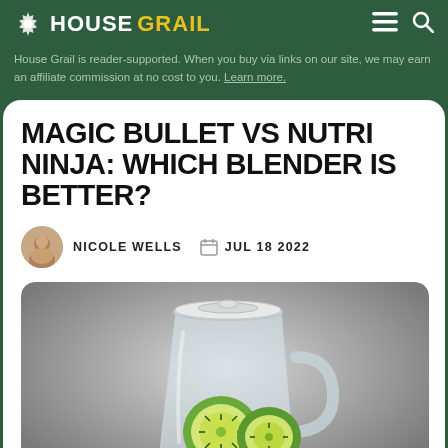HOUSE GRAIL
House Grail is reader-supported. When you buy via links on our site, we may earn an affiliate commission at no cost to you. Learn more.
MAGIC BULLET VS NUTRI NINJA: WHICH BLENDER IS BETTER?
NICOLE WELLS   JUL 18 2022
[Figure (photo): A clear blender pitcher with kiwi slices inside on a grey gradient background]